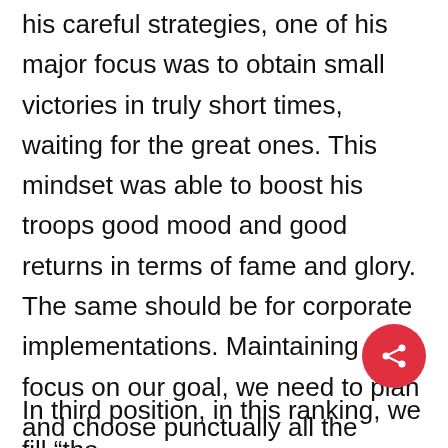his careful strategies, one of his major focus was to obtain small victories in truly short times, waiting for the great ones. This mindset was able to boost his troops good mood and good returns in terms of fame and glory. The same should be for corporate implementations. Maintaining our focus on our goal, we need to plan and choose punctually all the stages of the path, to consolidate them and finalize the final goal. Setting long-term goals, without intermediate “gates”, means open the door to defeats and disappointments.
In third position, in this ranking, we fill “the